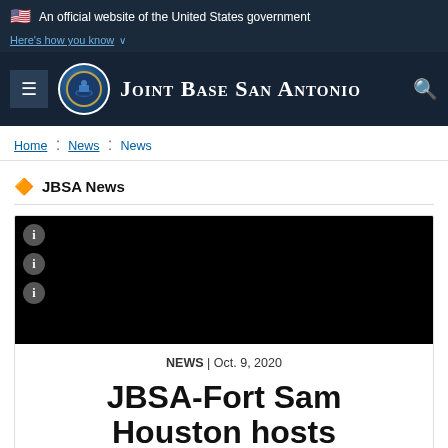An official website of the United States government
Here's how you know
Joint Base San Antonio
Home : News : News
JBSA News
[Figure (photo): Black image area with info icons on the left side]
NEWS | Oct. 9, 2020
JBSA-Fort Sam Houston hosts